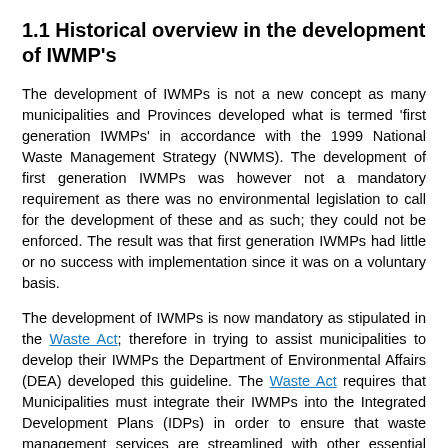1.1 Historical overview in the development of IWMP's
The development of IWMPs is not a new concept as many municipalities and Provinces developed what is termed 'first generation IWMPs' in accordance with the 1999 National Waste Management Strategy (NWMS). The development of first generation IWMPs was however not a mandatory requirement as there was no environmental legislation to call for the development of these and as such; they could not be enforced. The result was that first generation IWMPs had little or no success with implementation since it was on a voluntary basis.
The development of IWMPs is now mandatory as stipulated in the Waste Act; therefore in trying to assist municipalities to develop their IWMPs the Department of Environmental Affairs (DEA) developed this guideline. The Waste Act requires that Municipalities must integrate their IWMPs into the Integrated Development Plans (IDPs) in order to ensure that waste management services are streamlined with other essential basic services such as water and sanitation, housing, and electricity provision. This is to ensure that waste management should receive a share from the equitable share funding allocation and municipalities should ensure that waste services will be properly